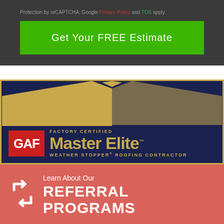Protection by reCAPTCHA: Google Privacy Policy and TOS apply.
Get Your FREE Estimate
[Figure (logo): GAF Factory Certified Master Elite Weather Stopper Roofing Contractor badge on dark blue background with gold roof silhouette and gold text, red GAF box on left]
[Figure (infographic): Red banner with white referral arrows icon, text Learn About Our REFERRAL PROGRAMS in white]
[Figure (other): Bottom red/salmon colored strip, partial view]